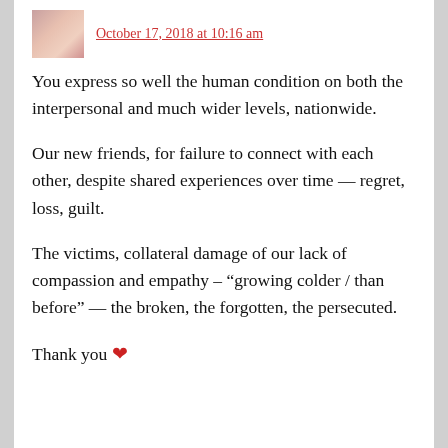October 17, 2018 at 10:16 am
You express so well the human condition on both the interpersonal and much wider levels, nationwide.
Our new friends, for failure to connect with each other, despite shared experiences over time — regret, loss, guilt.
The victims, collateral damage of our lack of compassion and empathy – “growing colder / than before” — the broken, the forgotten, the persecuted.
Thank you ❤